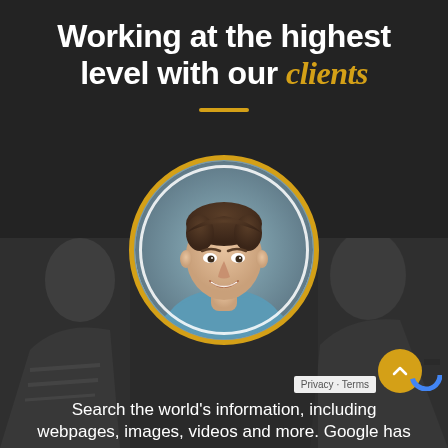Working at the highest level with our clients
[Figure (photo): Circular portrait of a young man in a blue t-shirt, smiling, with a gold/yellow double ring border, overlaid on a dark section background. Background shows blurred people on left and right sides.]
Search the world's information, including webpages, images, videos and more. Google has